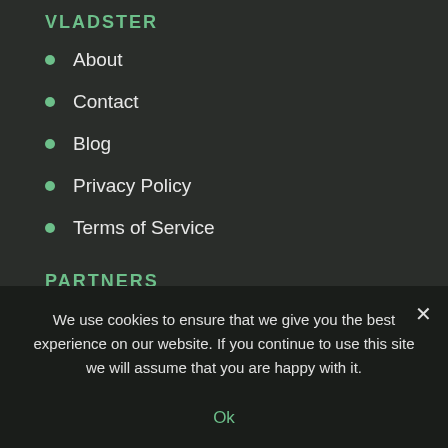VLADSTER
About
Contact
Blog
Privacy Policy
Terms of Service
PARTNERS
Partners
Partners portal
Distributors
We use cookies to ensure that we give you the best experience on our website. If you continue to use this site we will assume that you are happy with it.
Ok